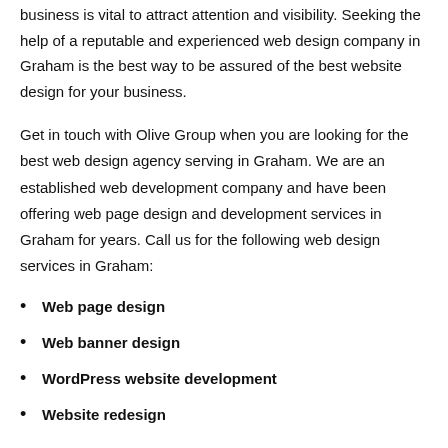business is vital to attract attention and visibility. Seeking the help of a reputable and experienced web design company in Graham is the best way to be assured of the best website design for your business.
Get in touch with Olive Group when you are looking for the best web design agency serving in Graham. We are an established web development company and have been offering web page design and development services in Graham for years. Call us for the following web design services in Graham:
Web page design
Web banner design
WordPress website development
Website redesign
We offer customized web design services in Graham as we understand